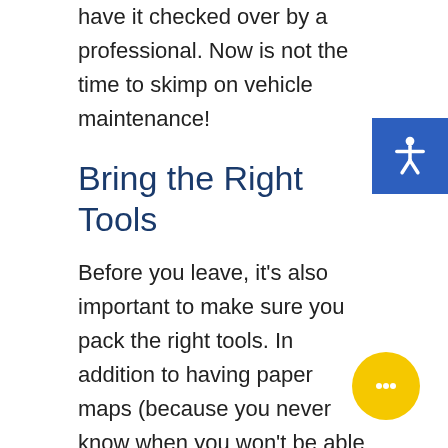have it checked over by a professional. Now is not the time to skimp on vehicle maintenance!
Bring the Right Tools
Before you leave, it's also important to make sure you pack the right tools. In addition to having paper maps (because you never know when you won't be able to get a cell phone/GPS signal), make sure you have a few key auto tools in case of emergencies. At minimum, keep a tire pressure check spare tire, and jack in your car. Make sure your spare tire is in good shape and brush up
[Figure (other): Blue accessibility icon button in top-right corner]
[Figure (other): Yellow circular chat button in bottom-right corner]